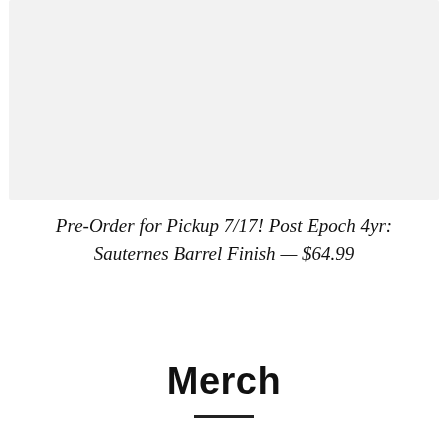[Figure (photo): Product image placeholder — light gray rectangle]
Pre-Order for Pickup 7/17! Post Epoch 4yr: Sauternes Barrel Finish — $64.99
Merch